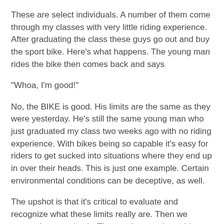These are select individuals. A number of them come through my classes with very little riding experience. After graduating the class these guys go out and buy the sport bike. Here's what happens. The young man rides the bike then comes back and says
"Whoa, I'm good!"
No, the BIKE is good. His limits are the same as they were yesterday. He's still the same young man who just graduated my class two weeks ago with no riding experience. With bikes being so capable it's easy for riders to get sucked into situations where they end up in over their heads. This is just one example. Certain environmental conditions can be deceptive, as well.
The upshot is that it's critical to evaluate and recognize what these limits really are. Then we respond appropriately. The good news about rider limits is that they can always be expanded in our favor. Increasing our physical skills is a tremendous factor in improving our odds. Every rider should strive for having expert skills. It can only be accomplished by